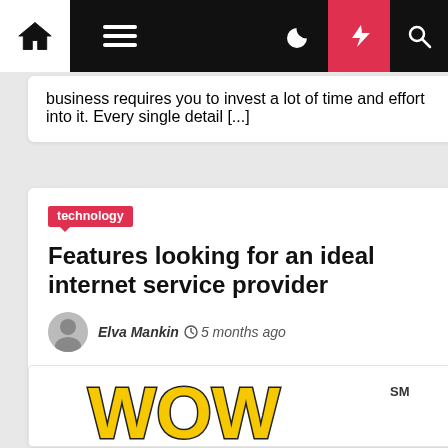Navigation bar with home, menu, moon, flash, and search icons
business requires you to invest a lot of time and effort into it. Every single detail [...]
technology
Features looking for an ideal internet service provider
Elva Mankin  5 months ago
[Figure (logo): WOW logo in large bold yellow letters with black outline and SM superscript mark]